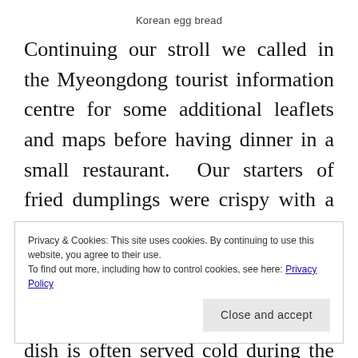Korean egg bread
Continuing our stroll we called in the Myeongdong tourist information centre for some additional leaflets and maps before having dinner in a small restaurant. Our starters of fried dumplings were crispy with a good flavoursome filling but our main course of Bukchon mixed noodles was a big disappointment as it was served cold. Apparently, this dish is often served cold during the summer
Privacy & Cookies: This site uses cookies. By continuing to use this website, you agree to their use.
To find out more, including how to control cookies, see here: Privacy Policy
Close and accept